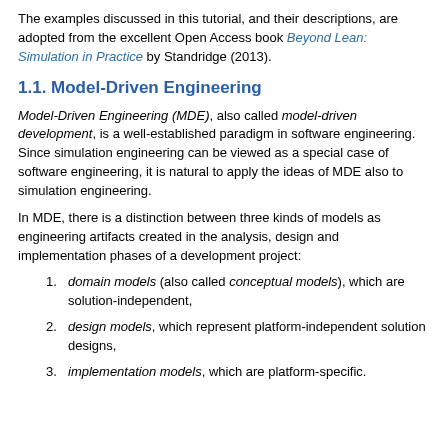The examples discussed in this tutorial, and their descriptions, are adopted from the excellent Open Access book Beyond Lean: Simulation in Practice by Standridge (2013).
1.1. Model-Driven Engineering
Model-Driven Engineering (MDE), also called model-driven development, is a well-established paradigm in software engineering. Since simulation engineering can be viewed as a special case of software engineering, it is natural to apply the ideas of MDE also to simulation engineering.
In MDE, there is a distinction between three kinds of models as engineering artifacts created in the analysis, design and implementation phases of a development project:
domain models (also called conceptual models), which are solution-independent,
design models, which represent platform-independent solution designs,
implementation models, which are platform-specific.